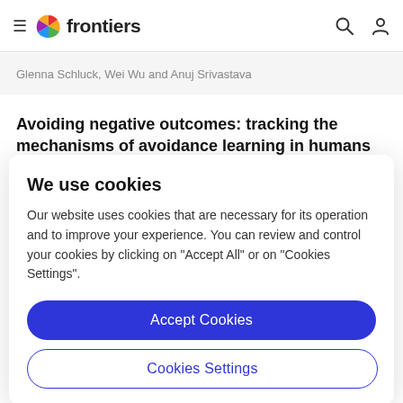frontiers
Glenna Schluck, Wei Wu and Anuj Srivastava
Avoiding negative outcomes: tracking the mechanisms of avoidance learning in humans during fear
We use cookies
Our website uses cookies that are necessary for its operation and to improve your experience. You can review and control your cookies by clicking on "Accept All" or on "Cookies Settings".
Accept Cookies
Cookies Settings